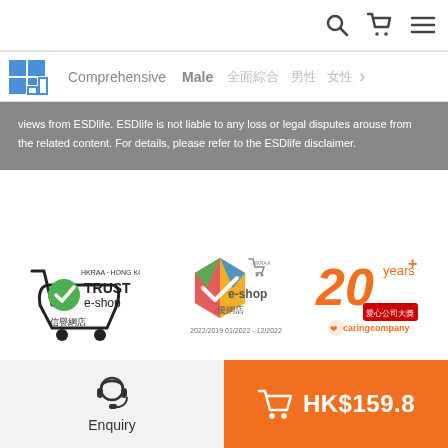Navigation bar with search, cart, and menu icons
Comprehensive | Male | 全面綜合 | 男性 | 女性
views from ESDlife. ESDlife is not liable to any loss or legal disputes arouse from the related content. For details, please refer to the ESDlife disclaimer.
[Figure (logo): HKRAA Trust e-shop 信譽網店 badge logo]
[Figure (logo): HKRAA e-shop 優網店 2022/2019 01/2022 - 12/2022 badge logo]
[Figure (logo): 20+ years Caring Company 愛心公司 logo]
Enquiry
HK$159.8